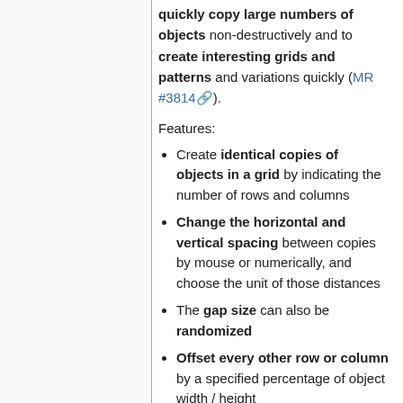quickly copy large numbers of objects non-destructively and to create interesting grids and patterns and variations quickly (MR #3814).
Features:
Create identical copies of objects in a grid by indicating the number of rows and columns
Change the horizontal and vertical spacing between copies by mouse or numerically, and choose the unit of those distances
The gap size can also be randomized
Offset every other row or column by a specified percentage of object width / height
16 different mirroring modes (requires the setting Edit →